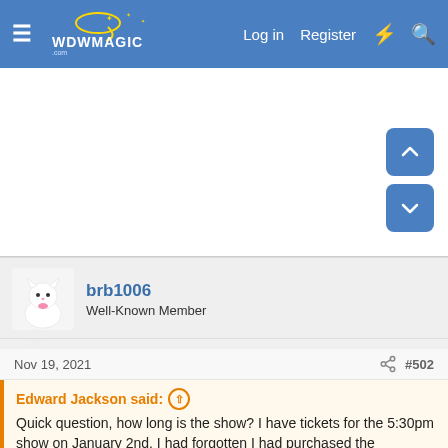WDWMagic.com — Log in  Register
[Figure (screenshot): WDWMagic website header with hamburger menu, logo, Log in, Register, lightning, and search icons on blue background]
[Figure (screenshot): White advertisement area with up and down navigation scroll buttons (blue rounded squares) on the right side]
brb1006
Well-Known Member
Nov 19, 2021   #502
Edward Jackson said: ↑
Quick question, how long is the show? I have tickets for the 5:30pm show on January 2nd. I had forgotten I had purchased the tickets ... french
[Figure (screenshot): Ad overlay: BitLife - Life Simulator advertisement with red banner image and Install! button]